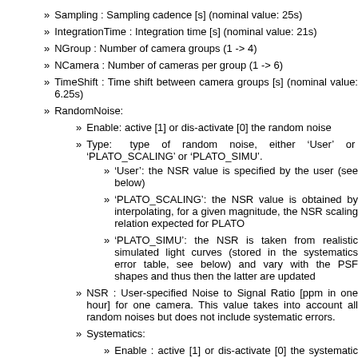Sampling :  Sampling cadence [s] (nominal value: 25s)
IntegrationTime : Integration time [s] (nominal value: 21s)
NGroup :  Number of camera groups (1 -> 4)
NCamera : Number of cameras per group (1 -> 6)
TimeShift : Time shift between camera groups [s] (nominal value: 6.25s)
RandomNoise:
Enable:  active [1] or dis-activate [0]  the random noise
Type:   type  of  random  noise,  either  ‘User’  or  ‘PLATO_SCALING’ or  ‘PLATO_SIMU’.
‘User’: the NSR value is specified by the user (see below)
‘PLATO_SCALING’: the NSR value is obtained by interpolating, for a given magnitude, the NSR scaling relation expected for PLATO
‘PLATO_SIMU’: the NSR is taken from realistic simulated light curves (stored in the systematics error table, see below) and vary with the PSF shapes and thus then the latter are updated
NSR : User-specified Noise to Signal Ratio [ppm in one hour] for one camera. This value takes into account all random noises but does not include systematic errors.
Systematics:
Enable : active [1] or dis-activate [0]  the  systematic errors